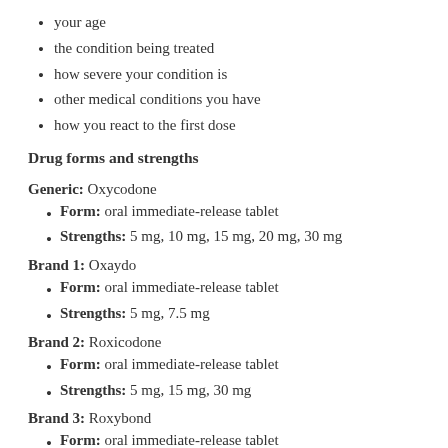your age
the condition being treated
how severe your condition is
other medical conditions you have
how you react to the first dose
Drug forms and strengths
Generic: Oxycodone
Form: oral immediate-release tablet
Strengths: 5 mg, 10 mg, 15 mg, 20 mg, 30 mg
Brand 1: Oxaydo
Form: oral immediate-release tablet
Strengths: 5 mg, 7.5 mg
Brand 2: Roxicodone
Form: oral immediate-release tablet
Strengths: 5 mg, 15 mg, 30 mg
Brand 3: Roxybond
Form: oral immediate-release tablet